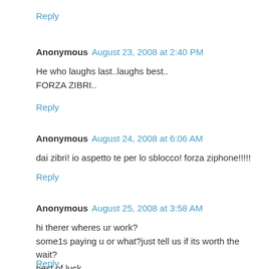Reply
Anonymous  August 23, 2008 at 2:40 PM
He who laughs last..laughs best..
FORZA ZIBRI..
Reply
Anonymous  August 24, 2008 at 6:06 AM
dai zibri! io aspetto te per lo sblocco! forza ziphone!!!!!
Reply
Anonymous  August 25, 2008 at 3:58 AM
hi therer wheres ur work?
some1s paying u or what?just tell us if its worth the wait?
best of luck
Reply